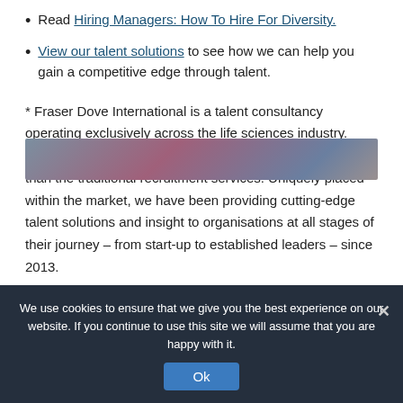Read Hiring Managers: How To Hire For Diversity.
View our talent solutions to see how we can help you gain a competitive edge through talent.
* Fraser Dove International is a talent consultancy operating exclusively across the life sciences industry. While our roots lie in executive search, we provide more than the traditional recruitment services. Uniquely placed within the market, we have been providing cutting-edge talent solutions and insight to organisations at all stages of their journey – from start-up to established leaders – since 2013.
[Figure (photo): Partial view of a photo strip with blurred colorful background, partially visible at the bottom of the content area.]
We use cookies to ensure that we give you the best experience on our website. If you continue to use this site we will assume that you are happy with it.